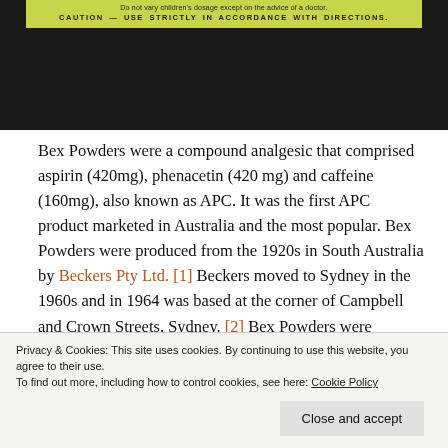[Figure (photo): Close-up photograph of a Bex Powders packaging box label on dark background. The label shows yellow-green text reading 'Do not vary children's dosage except on the advice of a doctor.' and bold text 'CAUTION — USE STRICTLY IN ACCORDANCE WITH DIRECTIONS.']
Bex Powders were a compound analgesic that comprised aspirin (420mg), phenacetin (420 mg) and caffeine (160mg), also known as APC. It was the first APC product marketed in Australia and the most popular. Bex Powders were produced from the 1920s in South Australia by Beckers Pty Ltd. [1] Beckers moved to Sydney in the 1960s and in 1964 was based at the corner of Campbell and Crown Streets, Sydney. [2] Bex Powders were commonly taken by dissolving the powder in water or a cup of tea. The packaging claimed a Bex would relieve 'Headache, Neuralgia, Rheumatism,
Privacy & Cookies: This site uses cookies. By continuing to use this website, you agree to their use.
To find out more, including how to control cookies, see here: Cookie Policy
Close and accept